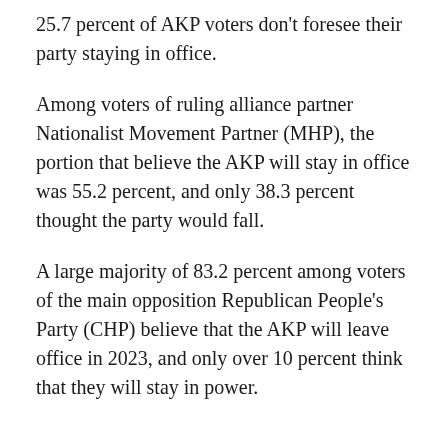25.7 percent of AKP voters don't foresee their party staying in office.
Among voters of ruling alliance partner Nationalist Movement Partner (MHP), the portion that believe the AKP will stay in office was 55.2 percent, and only 38.3 percent thought the party would fall.
A large majority of 83.2 percent among voters of the main opposition Republican People's Party (CHP) believe that the AKP will leave office in 2023, and only over 10 percent think that they will stay in power.